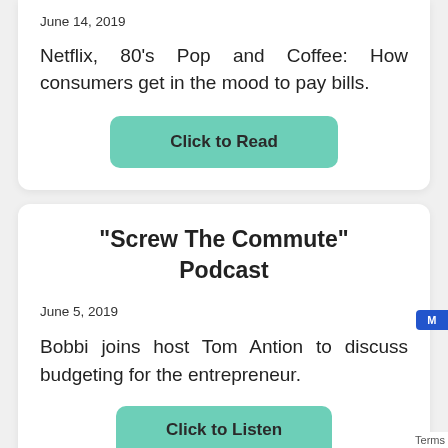June 14, 2019
Netflix, 80's Pop and Coffee: How consumers get in the mood to pay bills.
[Figure (other): Teal/green rounded button labeled 'Click to Read']
"Screw The Commute" Podcast
June 5, 2019
Bobbi joins host Tom Antion to discuss budgeting for the entrepreneur.
[Figure (other): Teal/green rounded button partially visible labeled 'Click to Listen']